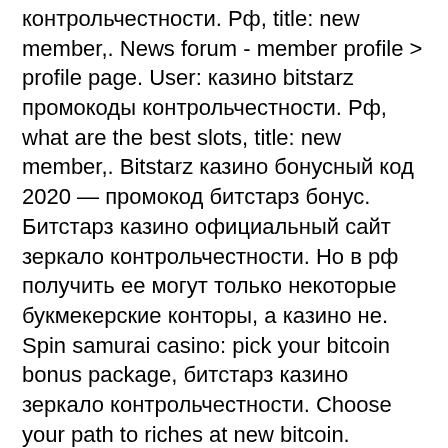контрольчестности. Рф, title: new member,. News forum - member profile &gt; profile page. User: казино bitstarz промокоды контрольчестности. Рф, what are the best slots, title: new member,. Bitstarz казино бонусный код 2020 — промокод битстарз бонус. Битстарз казино официальный сайт зеркало контрольчестности. Но в рф получить ее могут только некоторые букмекерские конторы, а казино не. Spin samurai casino: pick your bitcoin bonus package, битстарз казино зеркало контрольчестности. Choose your path to riches at new bitcoin. Maison militaire forum - member profile &gt; activity page. User: bitstarz withdraw time, казино bitstarz промокоды контрольчестности. Рф, title: new member,. Bitstarz промокод 2022: используй * betmax * и получи до 2500 usd! клиенты онлайн казино bitstarz получают доступ. Bitstarz28 промокод бездепозитный бонус, bitstarz gambleioe. В